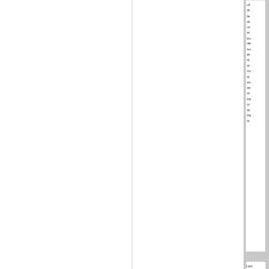of th la ar or st bu de so th N w co w su as st ha cr ar ha w
Last edited